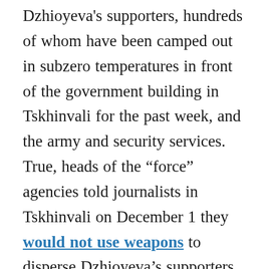Dzhioyeva's supporters, hundreds of whom have been camped out in subzero temperatures in front of the government building in Tskhinvali for the past week, and the army and security services. True, heads of the “force” agencies told journalists in Tskhinvali on December 1 they would not use weapons to disperse Dzhioyeva’s supporters, but in South Ossetia, as in the United Kingdom, a week is a long time in politics.